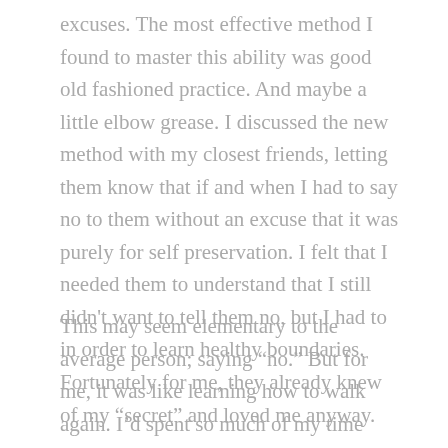excuses.  The most effective method I found to master this ability was good old fashioned practice. And maybe a little elbow grease. I discussed the new method with my closest friends, letting them know that if and when I had to say no to them without an excuse that it was purely for self preservation.  I felt that I needed them to understand that I still didn't want to tell them no, but I had to in order to learn healthy boundaries.  Fortunately for me, they already knew of my “secret” and loved me anyway.
This may seem elementary to the average person; saying “no.”  But for me, it was like learning how to walk again.  I’d spent so much of my time trying to please everyone around me that I didn’t know what I wanted.  According to my counselor, I needed to find